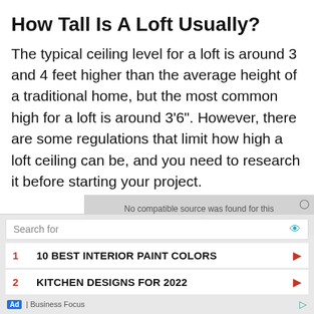How Tall Is A Loft Usually?
The typical ceiling level for a loft is around 3 and 4 feet higher than the average height of a traditional home, but the most common high for a loft is around 3'6". However, there are some regulations that limit how high a loft ceiling can be, and you need to research it before starting your project.
[Figure (screenshot): Advertisement overlay with search bar and two sponsored results: 1. 10 BEST INTERIOR PAINT COLORS, 2. KITCHEN DESIGNS FOR 2022. Business Focus branding at bottom. Also shows a video placeholder strip saying 'No compatible source was found for this media.']